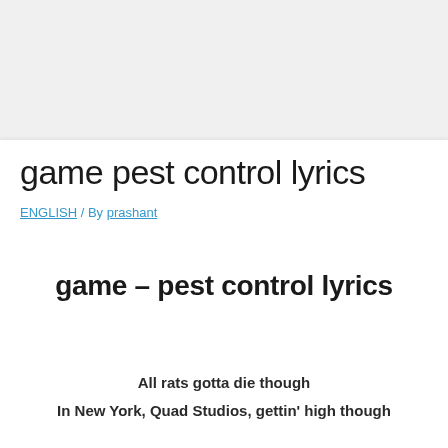game pest control lyrics
ENGLISH / By prashant
game – pest control lyrics
All rats gotta die though
In New York, Quad Studios, gettin' high though